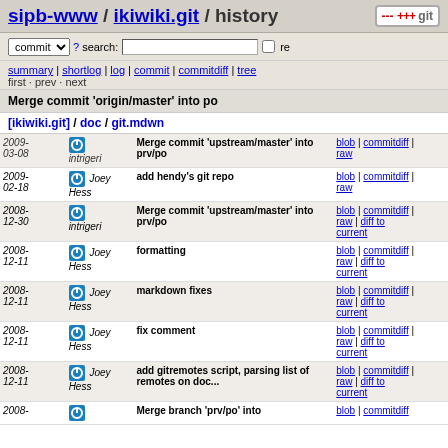sipb-www / ikiwiki.git / history
commit ? search: re
summary | shortlog | log | commit | commitdiff | tree
first · prev · next
Merge commit 'origin/master' into po
[ikiwiki.git] / doc / git.mdwn
| Date | Author | Commit Message | Links |
| --- | --- | --- | --- |
| 2009-03-08 | intrigeri | Merge commit 'upstream/master' into prv/po | blob | commitdiff | raw |
| 2009-02-18 | Joey Hess | add hendy's git repo | blob | commitdiff | raw |
| 2008-12-30 | intrigeri | Merge commit 'upstream/master' into prv/po | blob | commitdiff | raw | diff to current |
| 2008-12-11 | Joey Hess | formatting | blob | commitdiff | raw | diff to current |
| 2008-12-11 | Joey Hess | markdown fixes | blob | commitdiff | raw | diff to current |
| 2008-12-11 | Joey Hess | fix comment | blob | commitdiff | raw | diff to current |
| 2008-12-11 | Joey Hess | add gitremotes script, parsing list of remotes on doc... | blob | commitdiff | raw | diff to current |
| 2008- |  | Merge branch 'prv/po' into | blob | commitdiff |